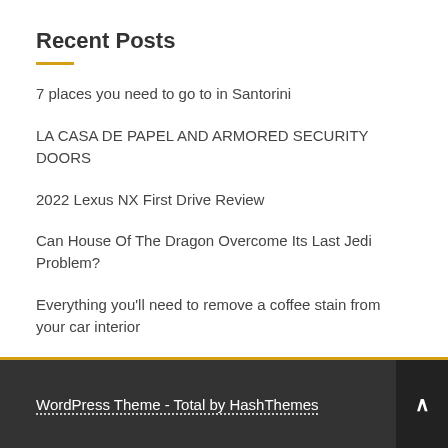Recent Posts
7 places you need to go to in Santorini
LA CASA DE PAPEL AND ARMORED SECURITY DOORS
2022 Lexus NX First Drive Review
Can House Of The Dragon Overcome Its Last Jedi Problem?
Everything you'll need to remove a coffee stain from your car interior
WordPress Theme - Total by HashThemes